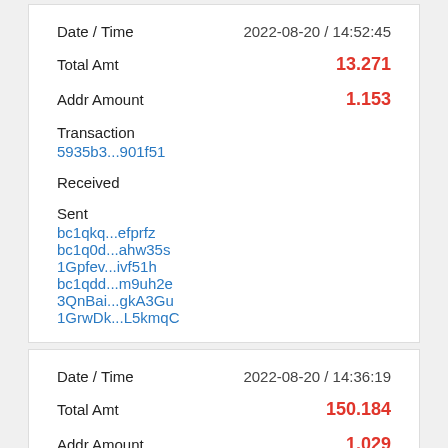| Date / Time | 2022-08-20 / 14:52:45 |
| Total Amt | 13.271 |
| Addr Amount | 1.153 |
| Transaction | 5935b3...901f51 |
| Received |  |
| Sent | bc1qkq...efprfz
bc1q0d...ahw35s
1Gpfev...ivf51h
bc1qdd...m9uh2e
3QnBai...gkA3Gu
1GrwDk...L5kmqC |
| Date / Time | 2022-08-20 / 14:36:19 |
| Total Amt | 150.184 |
| Addr Amount | 1.029 |